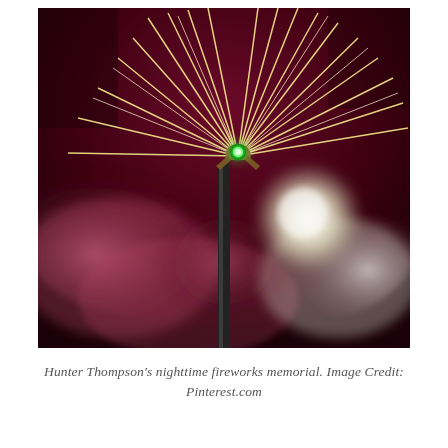[Figure (photo): Nighttime fireworks display photograph. A tall pole or flagpole with a glowing green light/ornament at its top is centered in the image. Dramatic firework trails radiate outward from near the top of the pole against a dark red/crimson sky. Pink and purple smoke clouds fill the lower half of the image, illuminated by the fireworks. A bright white light source is visible behind the pole on the right side.]
Hunter Thompson's nighttime fireworks memorial. Image Credit: Pinterest.com